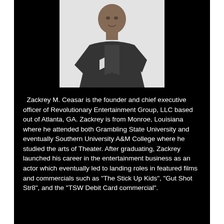[Figure (photo): Portrait photo of Zackrey M. Ceasar, a man in a black jacket leaning forward against a light background]
Zackrey M. Ceasar is the founder and chief executive officer of Revolutionary Entertainment Group, LLC based out of Atlanta, GA. Zackrey is from Monroe, Louisiana where he attended both Grambling State University and eventually Southern University A&M College where he studied the arts of Theater. After graduating, Zackrey launched his career in the entertainment business as an actor which eventually led to landing roles in featured films and commercials such as "The Stick Up Kids", "Gut Shot Str8", and the "TSW Debit Card commercial".